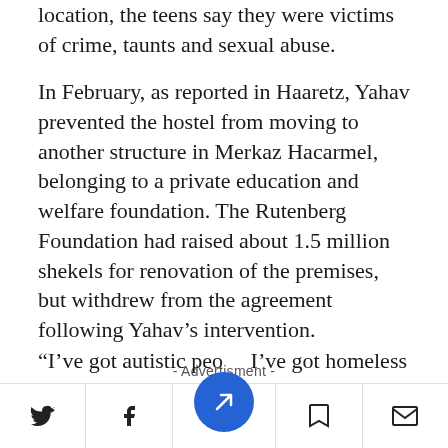location, the teens say they were victims of crime, taunts and sexual abuse.
In February, as reported in Haaretz, Yahav prevented the hostel from moving to another structure in Merkaz Hacarmel, belonging to a private education and welfare foundation. The Rutenberg Foundation had raised about 1.5 million shekels for renovation of the premises, but withdrew from the agreement following Yahav's intervention.
- Advertisment -
“I’ve got autistic peo   I’ve got homeless
[Figure (other): Bottom navigation toolbar with Twitter, Facebook, bookmark, and email icons, and a central blue circular button with a northeast arrow icon]